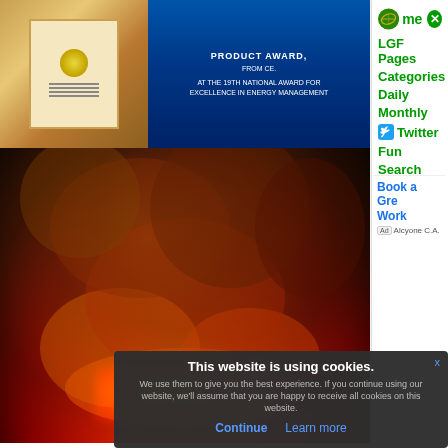[Figure (photo): Award ceremony photo with man holding certificate, blue background with text about product award from CE at 19th National Award for Excellence in Energy Management]
[Figure (photo): Large fire with dramatic orange and red smoke clouds at night]
Book a Gre... Work
Ad Alcyone C.A...
[Figure (photo): Grid of men's military-style t-shirts, long sleeves, shorts in dark olive/black colors]
Summer T... For Men
Ad Cotosen
Home
LGF Pages
Categories
Daily
Monthly
Twitter
Fun
Search
About
This website is using cookies.
We use them to give you the best experience. If you continue using our website, we'll assume that you are happy to receive all cookies on this website.
Continue   Learn more